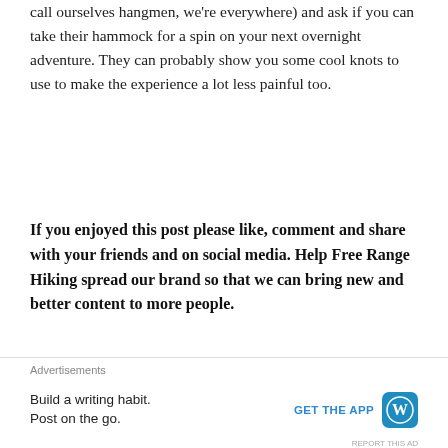call ourselves hangmen, we're everywhere) and ask if you can take their hammock for a spin on your next overnight adventure. They can probably show you some cool knots to use to make the experience a lot less painful too.
If you enjoyed this post please like, comment and share with your friends and on social media. Help Free Range Hiking spread our brand so that we can bring new and better content to more people.
Advertisements
[Figure (other): Advertisement banner with orange background: 'Search, browse, and email with more privacy.']
Advertisements
[Figure (other): Bottom advertisement bar: 'Build a writing habit. Post on the go.' with GET THE APP button and WordPress logo]